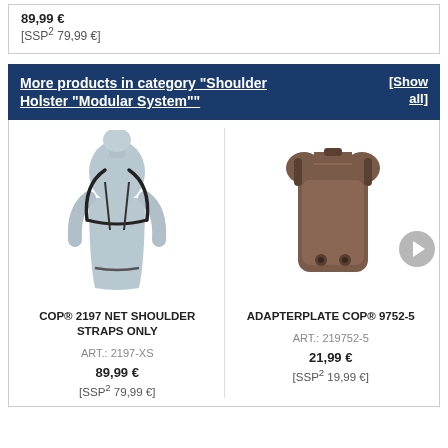89,99 €
[SSP² 79,99 €]
More products in category "Shoulder Holster "Modular System""
[Show all]
[Figure (photo): Mannequin torso wearing shoulder strap harness system (COP® 2197)]
COP® 2197 NET SHOULDER STRAPS ONLY
ART.: 2197-XS
89,99 €
[SSP² 79,99 €]
[Figure (photo): Brown leather adapter plate component (ADAPTERPLATE COP® 9752-5)]
ADAPTERPLATE COP® 9752-5
ART.: 219752-5
21,99 €
[SSP² 19,99 €]